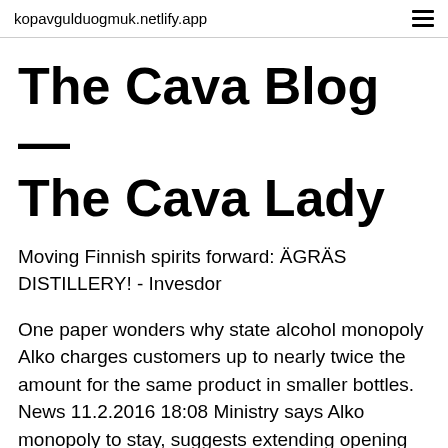kopavgulduogmuk.netlify.app
The Cava Blog — The Cava Lady
Moving Finnish spirits forward: ÄGRÄS DISTILLERY! - Invesdor
One paper wonders why state alcohol monopoly Alko charges customers up to nearly twice the amount for the same product in smaller bottles. News 11.2.2016 18:08 Ministry says Alko monopoly to stay, suggests extending opening hours There's